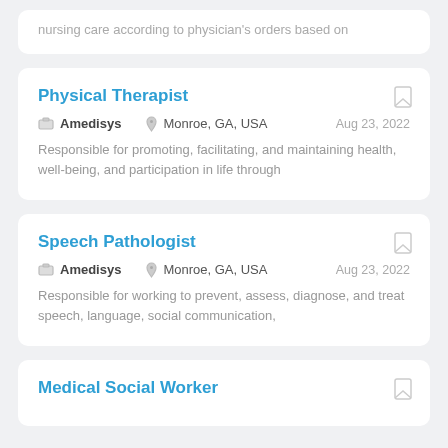nursing care according to physician's orders based on
Physical Therapist
Amedisys   Monroe, GA, USA   Aug 23, 2022
Responsible for promoting, facilitating, and maintaining health, well-being, and participation in life through
Speech Pathologist
Amedisys   Monroe, GA, USA   Aug 23, 2022
Responsible for working to prevent, assess, diagnose, and treat speech, language, social communication,
Medical Social Worker